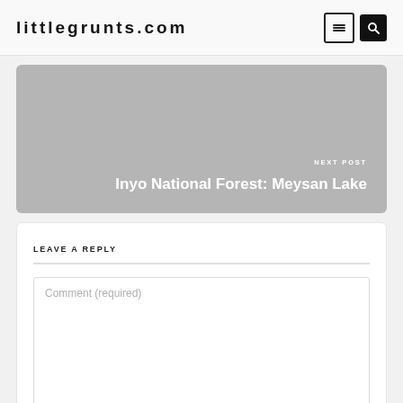littlegrunts.com
[Figure (screenshot): Next post navigation card with gray background showing 'NEXT POST' label and title 'Inyo National Forest: Meysan Lake']
LEAVE A REPLY
Comment (required)